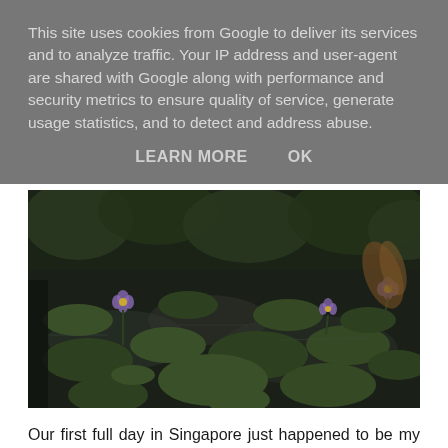This site uses cookies from Google to deliver its services and to analyze traffic. Your IP address and user-agent are shared with Google along with performance and security metrics to ensure quality of service, generate usage statistics, and to detect and address abuse.
LEARN MORE   OK
[Figure (photo): Photograph of a pond with lily pads and purple water lily flowers floating on dark reflective water, with green lily pads covering most of the surface.]
Our first full day in Singapore just happened to be my 26th birthday, and the first time I've ever actually spent a birthday abroad. We started the day in a weird, jet-lagged funk, jumping between being wide awake or snoring away. We finally got our shit together and left the hotel room about 11ish with one thing on our mind: food.